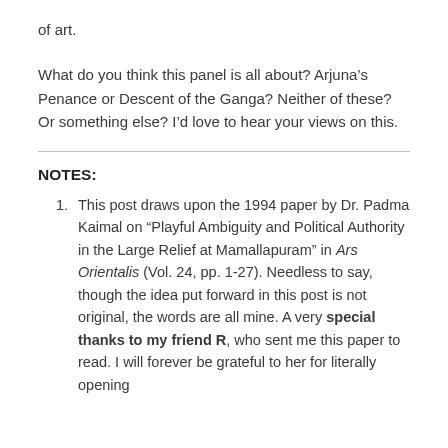of art.
What do you think this panel is all about? Arjuna’s Penance or Descent of the Ganga? Neither of these? Or something else? I’d love to hear your views on this.
NOTES:
This post draws upon the 1994 paper by Dr. Padma Kaimal on “Playful Ambiguity and Political Authority in the Large Relief at Mamallapuram” in Ars Orientalis (Vol. 24, pp. 1-27). Needless to say, though the idea put forward in this post is not original, the words are all mine. A very special thanks to my friend R, who sent me this paper to read. I will forever be grateful to her for literally opening